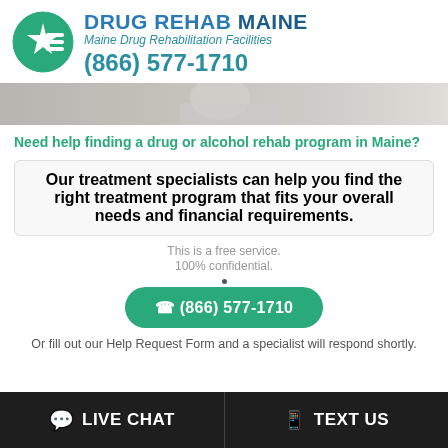[Figure (logo): Drug Rehab Maine circular logo with star and lines, teal/blue color]
DRUG REHAB MAINE
Maine Drug Rehabilitation Facilities
(866) 577-1710
[Figure (photo): Blurred hero image strip showing a person in a medical/clinical setting]
Need help finding a drug or alcohol rehab program in Maine?
Our treatment specialists can help you find the right treatment program that fits your overall needs and financial requirements.
This is a free service.
100% confidential.
(866) 577-1710
Or fill out our Help Request Form and a specialist will respond shortly.
LIVE CHAT
TEXT US